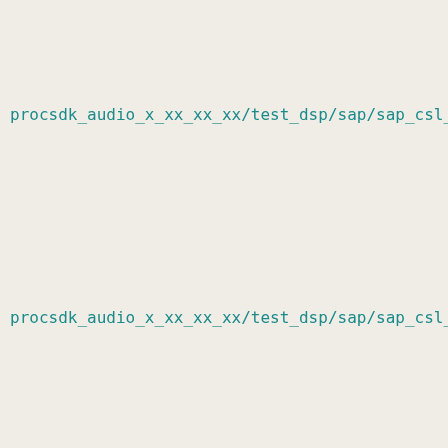procsdk_audio_x_xx_xx_xx/test_dsp/sap/sap_csl_mcaspha
procsdk_audio_x_xx_xx_xx/test_dsp/sap/sap_csl_stdinch
procsdk_audio_x_xx_xx_xx/test_dsp/sap/sap_d10.c
procsdk_audio_x_xx_xx_xx/test_dsp/sap/sap_mcasp.c
procsdk_audio_x_xx_xx_xx/test_dsp/sap/sap_mcasp.h